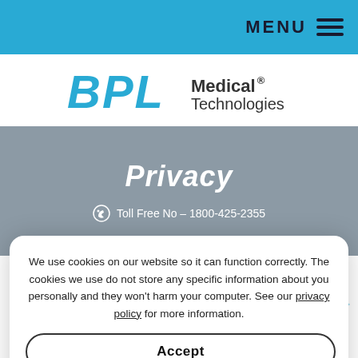MENU ≡
[Figure (logo): BPL Medical Technologies logo — BPL in bold blue italic letters, Medical Technologies in dark gray]
Privacy
Toll Free No – 1800-425-2355
Home // Privacy
At BPL MEDICAL TECHNOLOGIES PRIVATE LIMITED, a company incorporated and registered in India and h
We use cookies on our website so it can function correctly. The cookies we use do not store any specific information about you personally and they won't harm your computer. See our privacy policy for more information.
Accept
Business Enquiry
Get Update on BPL Medical Technologies